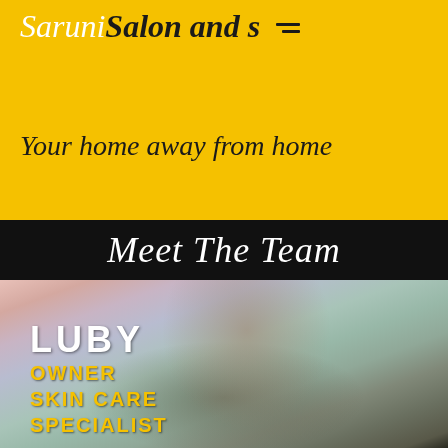Saruni Salon and Spa
Your home away from home
Meet The Team
[Figure (photo): Blurred photo of a person (Luby) with colorful background]
LUBY
OWNER
SKIN CARE
SPECIALIST